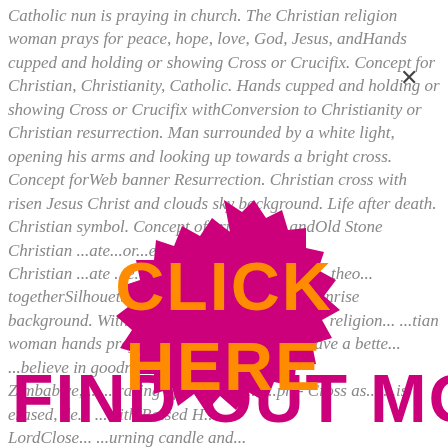Catholic nun is praying in church. The Christian religion woman prays for peace, hope, love, God, Jesus, andHands cupped and holding or showing Cross or Crucifix. Concept for Christian, Christianity, Catholic. Hands cupped and holding or showing Cross or Crucifix withConversion to Christianity or Christian resurrection. Man surrounded by a white light, opening his arms and looking up towards a bright cross. Concept forWeb banner Resurrection. Christian cross with risen Jesus Christ and clouds sky background. Life after death. Christian symbol. Concept of crucifixion andOld Stone Christian ... ate ... or ... e Christian ... ate ... e. ... hip god in the bu... ... of ... theo... togetherSilhouette christian ch... on grass in sunrise background. With fly... ... iracle bright lighting, religion... ...tian woman hands praying to god... ...o wishing have a bette... ...believe in goodness/... Zimbabwe, ... ...rasing of christian ... ...ph - Cross as... ...is erased, de... ...with Raised H... LordClose... ...urning candle and...
[Figure (infographic): Bright magenta/pink starburst or gear-shaped badge with orange bold text 'FIND OUT MORE' across the top in large Impact font, overlaid on the background text. Below, a large magenta starburst shape with orange text 'CLICK HERE' in two lines.]